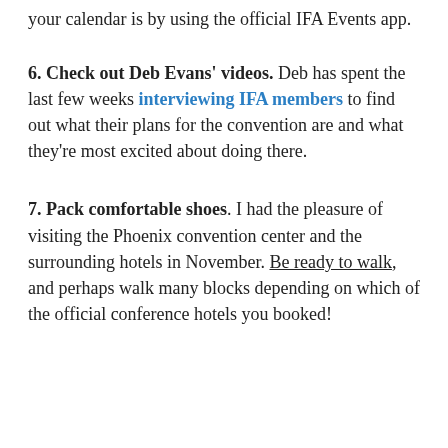your calendar is by using the official IFA Events app.
6. Check out Deb Evans' videos. Deb has spent the last few weeks interviewing IFA members to find out what their plans for the convention are and what they're most excited about doing there.
7. Pack comfortable shoes. I had the pleasure of visiting the Phoenix convention center and the surrounding hotels in November. Be ready to walk, and perhaps walk many blocks depending on which of the official conference hotels you booked!